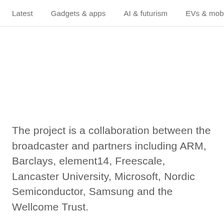Latest   Gadgets & apps   AI & futurism   EVs & mobility   S
The project is a collaboration between the broadcaster and partners including ARM, Barclays, element14, Freescale, Lancaster University, Microsoft, Nordic Semiconductor, Samsung and the Wellcome Trust.